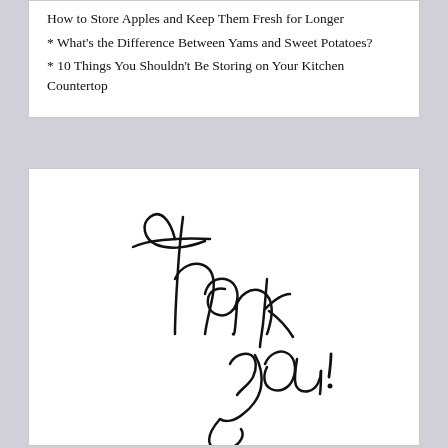How to Store Apples and Keep Them Fresh for Longer
* What's the Difference Between Yams and Sweet Potatoes?
* 10 Things You Shouldn't Be Storing on Your Kitchen Countertop
[Figure (illustration): Handwritten 'Thank you!' in cursive script on a white background]